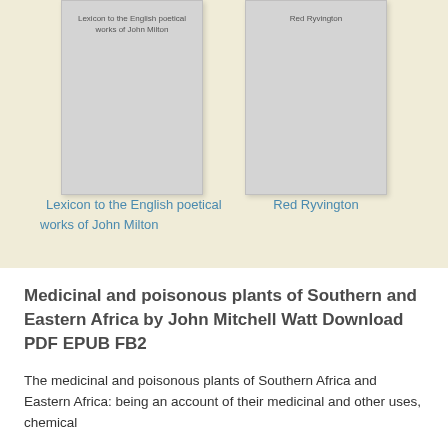[Figure (illustration): Book cover thumbnail for 'Lexicon to the English poetical works of John Milton', showing a gray placeholder cover with title text at top]
Lexicon to the English poetical works of John Milton
[Figure (illustration): Book cover thumbnail for 'Red Ryvington', showing a gray placeholder cover with title text at top]
Red Ryvington
Medicinal and poisonous plants of Southern and Eastern Africa by John Mitchell Watt Download PDF EPUB FB2
The medicinal and poisonous plants of Southern Africa and Eastern Africa: being an account of their medicinal and other uses, chemical